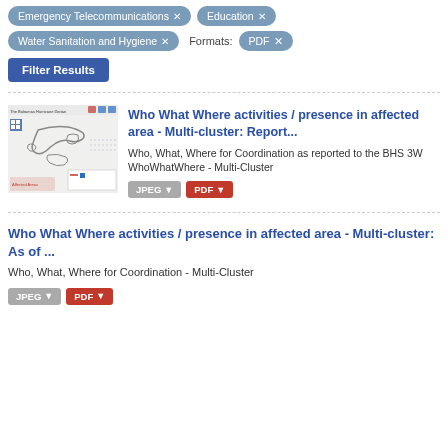Emergency Telecommunications × | Education ×
Water Sanitation and Hygiene × | Formats: PDF ×
Filter Results
Who What Where activities / presence in affected area - Multi-cluster: Report...
Who, What, Where for Coordination as reported to the BHS 3W WhoWhatWhere - Multi-Cluster
JPEG   PDF
[Figure (map): Thumbnail map of The Bahamas Hurricane Dorian showing island geography and affected areas]
Who What Where activities / presence in affected area - Multi-cluster: As of ...
Who, What, Where for Coordination - Multi-Cluster
JPEG   PDF